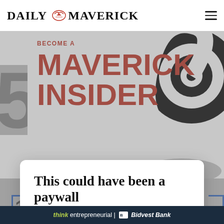DAILY MAVERICK
[Figure (illustration): Maverick Insider promotional banner with red text 'BECOME A MAVERICK INSIDER' and a large black spiral graphic on the right]
[Figure (screenshot): Partial background showing a '5' numeral and a blue-bordered box with number 1]
This could have been a paywall
On another site this would have been a paywall. Maverick Insider keeps our content free for all.
Become an Insider
think entrepreneurial | Bidvest Bank